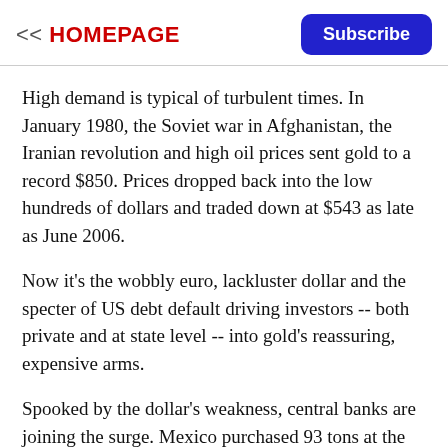<< HOMEPAGE | Subscribe
High demand is typical of turbulent times. In January 1980, the Soviet war in Afghanistan, the Iranian revolution and high oil prices sent gold to a record $850. Prices dropped back into the low hundreds of dollars and traded down at $543 as late as June 2006.
Now it's the wobbly euro, lackluster dollar and the specter of US debt default driving investors -- both private and at state level -- into gold's reassuring, expensive arms.
Spooked by the dollar's weakness, central banks are joining the surge. Mexico purchased 93 tons at the start of this year, up from previous holdings of less than